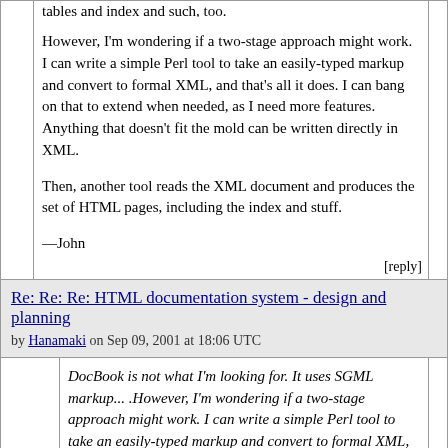tables and index and such, too.
However, I'm wondering if a two-stage approach might work. I can write a simple Perl tool to take an easily-typed markup and convert to formal XML, and that's all it does. I can bang on that to extend when needed, as I need more features. Anything that doesn't fit the mold can be written directly in XML.
Then, another tool reads the XML document and produces the set of HTML pages, including the index and stuff.
—John
[reply]
Re: Re: Re: HTML documentation system - design and planning
by Hanamaki on Sep 09, 2001 at 18:06 UTC
DocBook is not what I'm looking for. It uses SGML markup... .However, I'm wondering if a two-stage approach might work. I can write a simple Perl tool to take an easily-typed markup and convert to formal XML, and that's all it